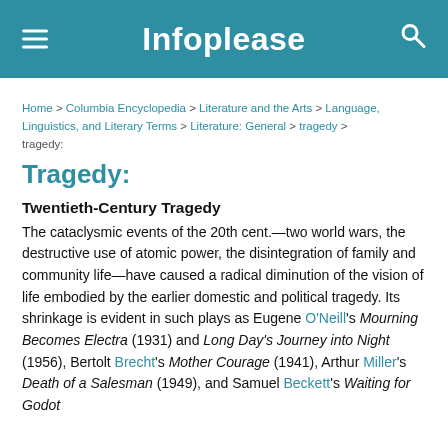Infoplease
Home > Columbia Encyclopedia > Literature and the Arts > Language, Linguistics, and Literary Terms > Literature: General > tragedy > tragedy:
Tragedy:
Twentieth-Century Tragedy
The cataclysmic events of the 20th cent.—two world wars, the destructive use of atomic power, the disintegration of family and community life—have caused a radical diminution of the vision of life embodied by the earlier domestic and political tragedy. Its shrinkage is evident in such plays as Eugene O'Neill's Mourning Becomes Electra (1931) and Long Day's Journey into Night (1956), Bertolt Brecht's Mother Courage (1941), Arthur Miller's Death of a Salesman (1949), and Samuel Beckett's Waiting for Godot